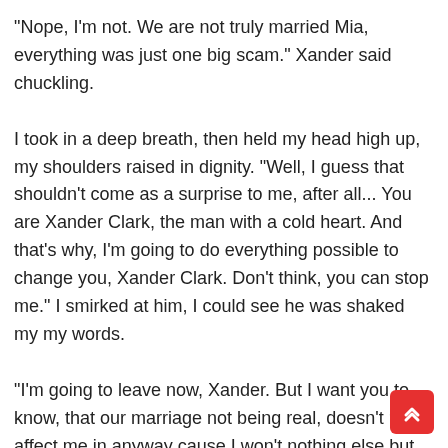"Nope, I'm not. We are not truly married Mia, everything was just one big scam." Xander said chuckling.
I took in a deep breath, then held my head high up, my shoulders raised in dignity. "Well, I guess that shouldn't come as a surprise to me, after all... You are Xander Clark, the man with a cold heart. And that's why, I'm going to do everything possible to change you, Xander Clark. Don't think, you can stop me." I smirked at him, I could see he was shaked my my words.
"I'm going to leave now, Xander. But I want you to know, that our marriage not being real, doesn't really affect me in anyway cause I won't nothing else but to end the marriage. I guess it's a win win, then." I smiled at him shrugging my shoulders.